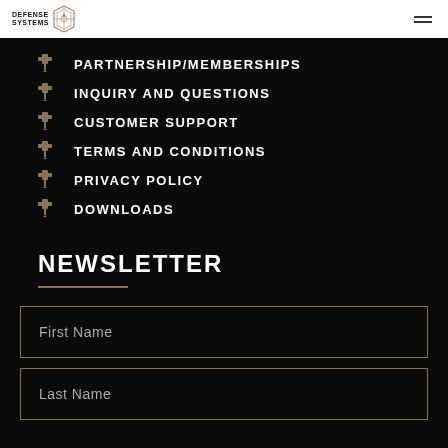DEFENSE SYSTEMS
PARTNERSHIP/MEMBERSHIPS
INQUIRY AND QUESTIONS
CUSTOMER SUPPORT
TERMS AND CONDITIONS
PRIVACY POLICY
DOWNLOADS
NEWSLETTER
First Name
Last Name